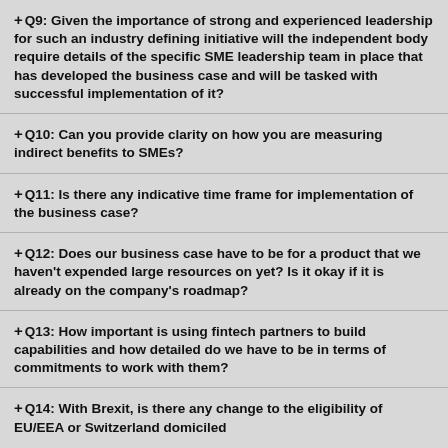+ Q9: Given the importance of strong and experienced leadership for such an industry defining initiative will the independent body require details of the specific SME leadership team in place that has developed the business case and will be tasked with successful implementation of it?
+ Q10: Can you provide clarity on how you are measuring indirect benefits to SMEs?
+ Q11: Is there any indicative time frame for implementation of the business case?
+ Q12: Does our business case have to be for a product that we haven't expended large resources on yet? Is it okay if it is already on the company's roadmap?
+ Q13: How important is using fintech partners to build capabilities and how detailed do we have to be in terms of commitments to work with them?
+ Q14: With Brexit, is there any change to the eligibility of EU/EEA or Switzerland domiciled